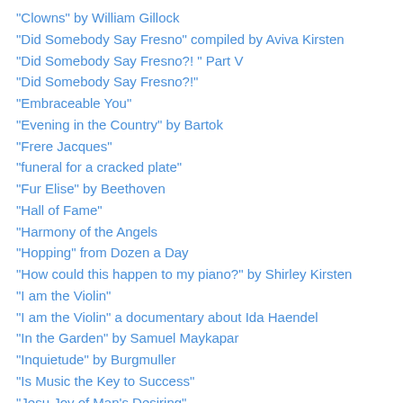"Clowns" by William Gillock
"Did Somebody Say Fresno" compiled by Aviva Kirsten
"Did Somebody Say Fresno?! " Part V
"Did Somebody Say Fresno?!"
"Embraceable You"
"Evening in the Country" by Bartok
"Frere Jacques"
"funeral for a cracked plate"
"Fur Elise" by Beethoven
"Hall of Fame"
"Harmony of the Angels
"Hopping" from Dozen a Day
"How could this happen to my piano?" by Shirley Kirsten
"I am the Violin"
"I am the Violin" a documentary about Ida Haendel
"In the Garden" by Samuel Maykapar
"Inquietude" by Burgmuller
"Is Music the Key to Success"
"Jesu Joy of Man's Desiring"
"Just Being At the Piano"